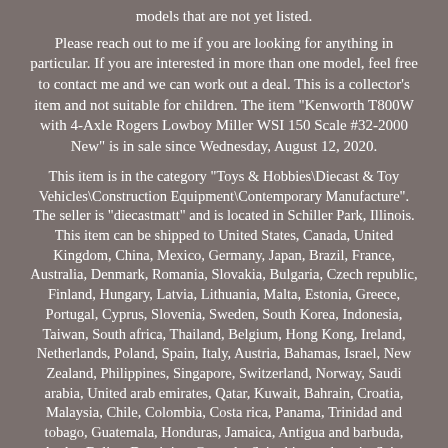models that are not yet listed.
Please reach out to me if you are looking for anything in particular. If you are interested in more than one model, feel free to contact me and we can work out a deal. This is a collector's item and not suitable for children. The item "Kenworth T800W with 4-Axle Rogers Lowboy Miller WSI 150 Scale #32-2000 New" is in sale since Wednesday, August 12, 2020.
This item is in the category "Toys & Hobbies\Diecast & Toy Vehicles\Construction Equipment\Contemporary Manufacture". The seller is "diecastmatt" and is located in Schiller Park, Illinois. This item can be shipped to United States, Canada, United Kingdom, China, Mexico, Germany, Japan, Brazil, France, Australia, Denmark, Romania, Slovakia, Bulgaria, Czech republic, Finland, Hungary, Latvia, Lithuania, Malta, Estonia, Greece, Portugal, Cyprus, Slovenia, Sweden, South Korea, Indonesia, Taiwan, South africa, Thailand, Belgium, Hong Kong, Ireland, Netherlands, Poland, Spain, Italy, Austria, Bahamas, Israel, New Zealand, Philippines, Singapore, Switzerland, Norway, Saudi arabia, United arab emirates, Qatar, Kuwait, Bahrain, Croatia, Malaysia, Chile, Colombia, Costa rica, Panama, Trinidad and tobago, Guatemala, Honduras, Jamaica, Antigua and barbuda, Aruba, Belize, Dominica, Grenada, Saint kitts and nevis, Saint lucia, Montserrat, Turks and caicos islands, Barbados, Bangladesh, Bermuda, Brunei darussalam, Bolivia, Ecuador, Egypt, French